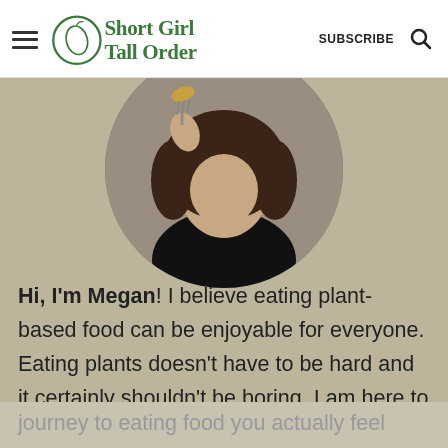Short Girl Tall Order — SUBSCRIBE [search icon]
[Figure (photo): Circular cropped photo of a young woman with curly dark hair wearing a black top, holding a fork with food toward her mouth. Background is the tan/khaki color of the content area.]
Hi, I'm Megan! I believe eating plant-based food can be enjoyable for everyone. Eating plants doesn't have to be hard and it certainly shouldn't be boring. I am here to help you on your
journey to eating food you actually feel